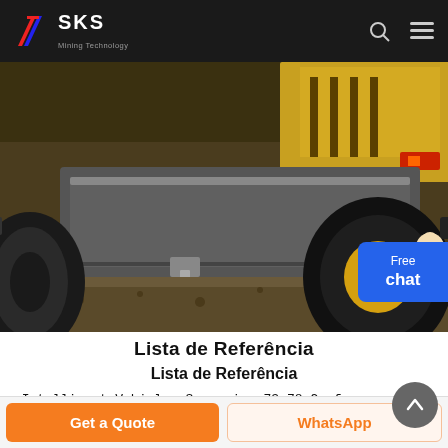SKS Mining Technology
[Figure (photo): Close-up photograph of heavy construction/mining equipment showing the rear bumper area of a yellow wheeled loader or similar machine, with large black tires including a prominent yellow-rimmed wheel on the right side.]
Lista de Referência
Lista de Referência
Intelligent Vehicles Symposium 73-78 Conference and Workshop Papers conf/ivs/HWGD18 10./IVS.. https://doi.org/10./I https.
Get a Quote  WhatsApp